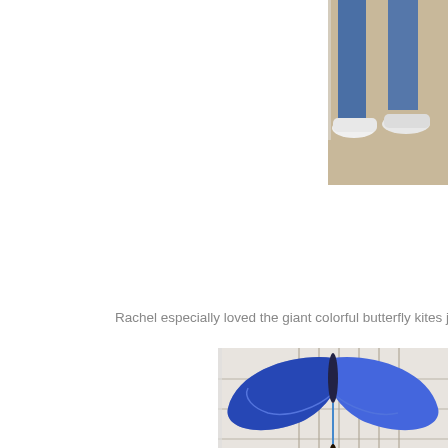[Figure (photo): Partial photo at top right showing two people's legs and feet in white sneakers standing on a tan/beige floor.]
Rachel especially loved the giant colorful butterfly kites just outside o
[Figure (photo): Photo of large colorful butterfly kites hanging on display — a blue butterfly kite at top, a red/orange monarch-style butterfly in middle, and a yellow/black swallowtail butterfly at bottom. A child with arms raised stands in front of the display.]